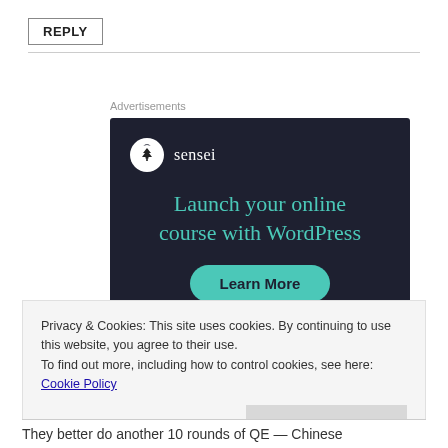REPLY
Advertisements
[Figure (infographic): Sensei advertisement with dark navy background. Logo: white circle with tree icon and text 'sensei'. Headline in teal: 'Launch your online course with WordPress'. Teal rounded button labeled 'Learn More'.]
Privacy & Cookies: This site uses cookies. By continuing to use this website, you agree to their use.
To find out more, including how to control cookies, see here: Cookie Policy
Close and accept
They better do another 10 rounds of QE — Chinese